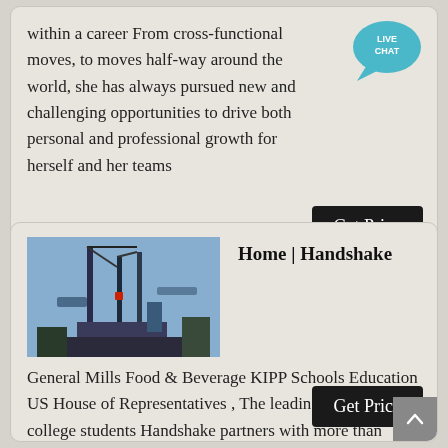within a career From cross-functional moves, to moves half-way around the world, she has always pursued new and challenging opportunities to drive both personal and professional growth for herself and her teams
[Figure (other): Live Chat speech bubble icon in teal/blue with text LIVE CHAT]
Get Price
[Figure (photo): Industrial equipment/oil pump machinery photograph]
Home | Handshake
General Mills Food & Beverage KIPP Schools Education US House of Representatives , The leading career site for college students Handshake partners with more than 1,000 colleges and universities to help students find great jobs Take the job search with you
Get Price